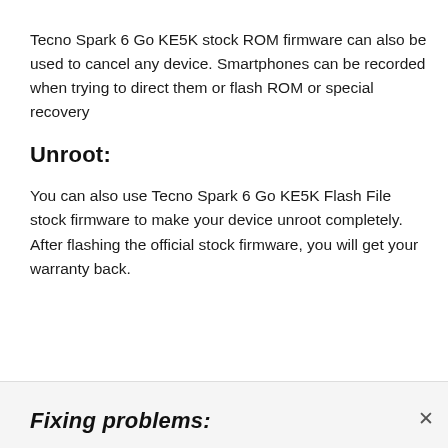Tecno Spark 6 Go KE5K stock ROM firmware can also be used to cancel any device. Smartphones can be recorded when trying to direct them or flash ROM or special recovery
Unroot:
You can also use Tecno Spark 6 Go KE5K Flash File stock firmware to make your device unroot completely. After flashing the official stock firmware, you will get your warranty back.
Fixing problems: